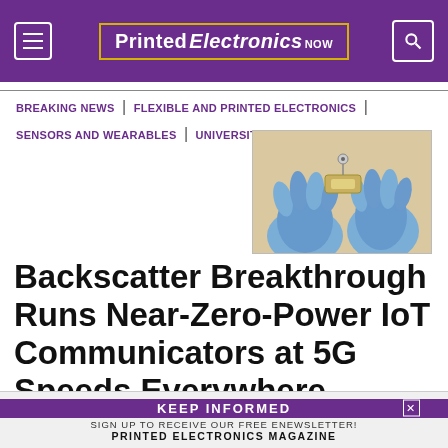Printed Electronics NOW
BREAKING NEWS | FLEXIBLE AND PRINTED ELECTRONICS | SENSORS AND WEARABLES | UNIVERSITIES
[Figure (photo): Close-up of blue-gloved hands holding a small flexible electronic device or sensor tag]
Backscatter Breakthrough Runs Near-Zero-Power IoT Communicators at 5G Speeds Everywhere
Low-cost, low-power devices work over mmWave and use a single transistor to transfer high-volume data
KEEP INFORMED — SIGN UP TO RECEIVE OUR FREE ENEWSLETTER! PRINTED ELECTRONICS MAGAZINE